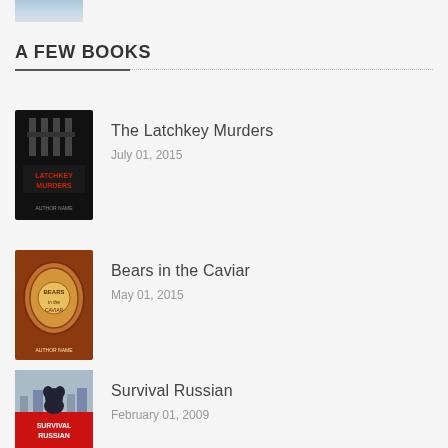[Figure (photo): Partial book or image cover at top of page, cropped]
A FEW BOOKS
[Figure (photo): Book cover for The Latchkey Murders - dark cover with bars/prison imagery]
The Latchkey Murders
July 01, 2015
[Figure (photo): Book cover for Bears in the Caviar - ornate illustrated cover with circular medallion]
Bears in the Caviar
May 01, 2015
[Figure (photo): Book cover for Survival Russian - red cover with bear silhouette against skyline]
Survival Russian
February 01, 2009